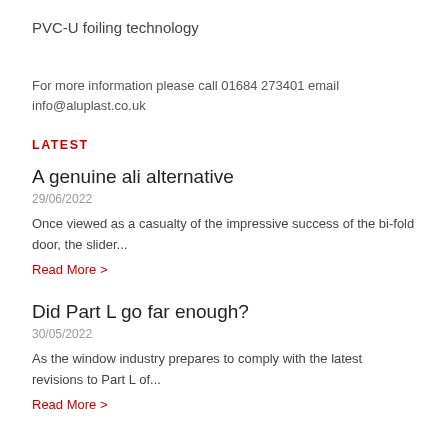PVC-U foiling technology
For more information please call 01684 273401 email info@aluplast.co.uk
LATEST
A genuine ali alternative
29/06/2022
Once viewed as a casualty of the impressive success of the bi-fold door, the slider...
Read More >
Did Part L go far enough?
30/05/2022
As the window industry prepares to comply with the latest revisions to Part L of...
Read More >